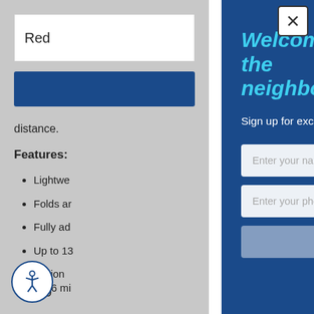Red
distance.
Features:
Lightwe...
Folds ar...
Fully ad...
Up to 13...
Optional... to 26 mi...
$599
Welcome to the neighborhood.
Sign up for exclusive offers and content and recieve 5% OFF your next order.
Enter your name
Enter your phone number